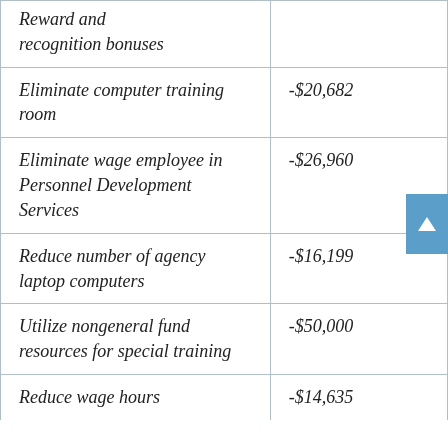| Action | Amount |
| --- | --- |
| Reward and recognition bonuses |  |
| Eliminate computer training room | -$20,682 |
| Eliminate wage employee in Personnel Development Services | -$26,960 |
| Reduce number of agency laptop computers | -$16,199 |
| Utilize nongeneral fund resources for special training | -$50,000 |
| Reduce wage hours | -$14,635 |